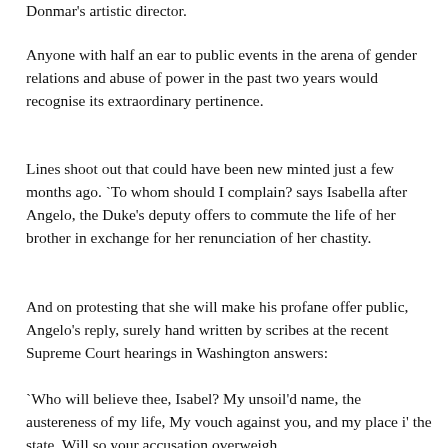Donmar's artistic director.
Anyone with half an ear to public events in the arena of gender relations and abuse of power in the past two years would recognise its extraordinary pertinence.
Lines shoot out that could have been new minted just a few months ago. `To whom should I complain? says Isabella after Angelo, the Duke's deputy offers to commute the life of her brother in exchange for her renunciation of her chastity.
And on protesting that she will make his profane offer public, Angelo's reply, surely hand written by scribes at the recent Supreme Court hearings in Washington answers:
`Who will believe thee, Isabel? My unsoil'd name, the austereness of my life, My vouch against you, and my place i' the state, Will so your accusation overweigh
That you shall stifle in your own report. And smell of